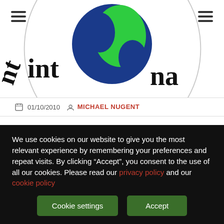[Figure (logo): Atheist Alliance International logo — partial view showing circular logo with globe (green landmass on blue globe) and partial text 'International' curved around it]
01/10/2010   MICHAEL NUGENT
Conor McGrath elected Vice President of Atheist Alliance International
Conor McGrath of Atheist Ireland has been elected as Vice President of Atheist Alliance International. The four new officers
We use cookies on our website to give you the most relevant experience by remembering your preferences and repeat visits. By clicking “Accept”, you consent to the use of all our cookies. Please read our privacy policy and our cookie policy